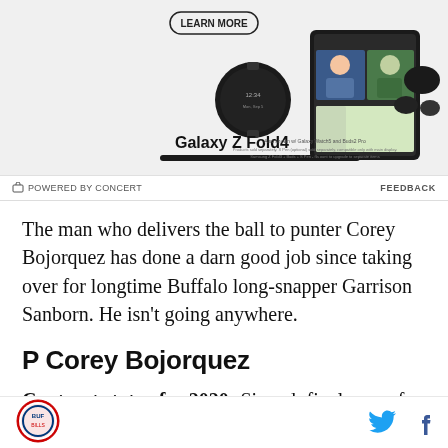[Figure (advertisement): Samsung Galaxy Z Fold4 advertisement showing devices including a smartwatch, folding phone with video call on screen, earbuds and stylus. Includes 'Learn More' button and text about Galaxy Watch5 and Buds2 Pro.]
POWERED BY CONCERT   FEEDBACK
The man who delivers the ball to punter Corey Bojorquez has done a darn good job since taking over for longtime Buffalo long-snapper Garrison Sanborn. He isn't going anywhere.
P Corey Bojorquez
Contract status for 2020: Signed; final year of rookie contract ($660,000 cap hit; zero dead money if cut)
[Figure (logo): Sports team logo - circular emblem with red border]
[Figure (other): Twitter and Facebook social media icons]